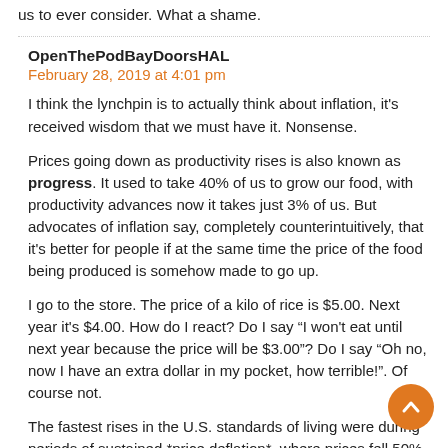us to ever consider. What a shame.
OpenThePodBayDoorsHAL
February 28, 2019 at 4:01 pm
I think the lynchpin is to actually think about inflation, it's received wisdom that we must have it. Nonsense.
Prices going down as productivity rises is also known as progress. It used to take 40% of us to grow our food, with productivity advances now it takes just 3% of us. But advocates of inflation say, completely counterintuitively, that it's better for people if at the same time the price of the food being produced is somehow made to go up.
I go to the store. The price of a kilo of rice is $5.00. Next year it's $4.00. How do I react? Do I say “I won't eat until next year because the price will be $3.00”? Do I say “Oh no, now I have an extra dollar in my pocket, how terrible!”. Of course not.
The fastest rises in the U.S. standards of living were during periods of sustained *price deflation*, where prices fell 50% or more.